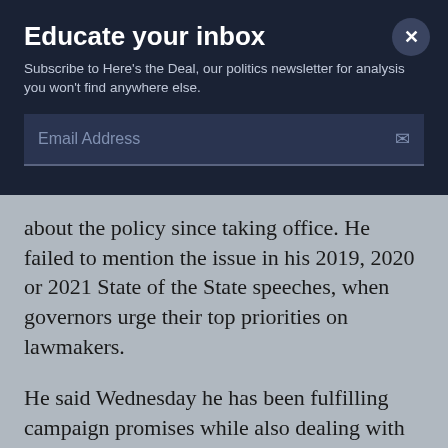Educate your inbox
Subscribe to Here's the Deal, our politics newsletter for analysis you won't find anywhere else.
Email Address
about the policy since taking office. He failed to mention the issue in his 2019, 2020 or 2021 State of the State speeches, when governors urge their top priorities on lawmakers.
He said Wednesday he has been fulfilling campaign promises while also dealing with the pandemic and needed the legislature to pass a constitutional carry bill before he could sign it. Georgia House Speaker David Ralston has